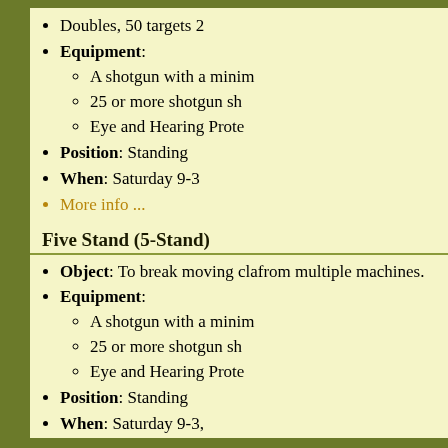Doubles, 50 targets 2
Equipment: A shotgun with a minim, 25 or more shotgun sh, Eye and Hearing Prote
Position: Standing
When: Saturday 9-3
More info ...
Five Stand (5-Stand)
Object: To break moving cla from multiple machines.
Equipment: A shotgun with a minim, 25 or more shotgun sh, Eye and Hearing Prote
Position: Standing
When: Saturday 9-3,
More info ...
[Figure (other): Printer icon]